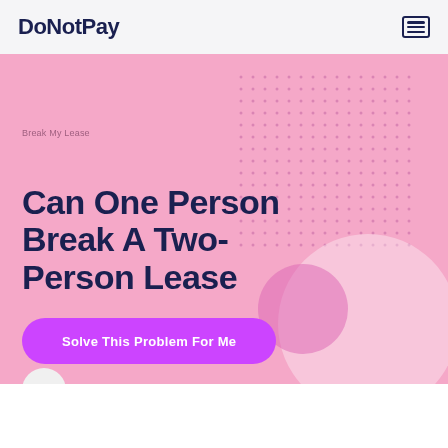DoNotPay
Break My Lease
Can One Person Break A Two-Person Lease
Solve This Problem For Me